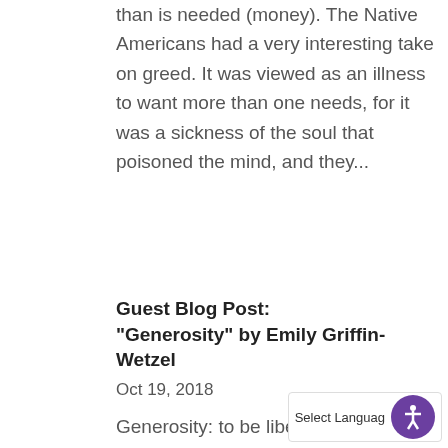than is needed (money). The Native Americans had a very interesting take on greed. It was viewed as an illness to want more than one needs, for it was a sickness of the soul that poisoned the mind, and they...
Guest Blog Post: “Generosity” by Emily Griffin-Wetzel
Oct 19, 2018
Generosity: to be liberal in giving, or to be characterized